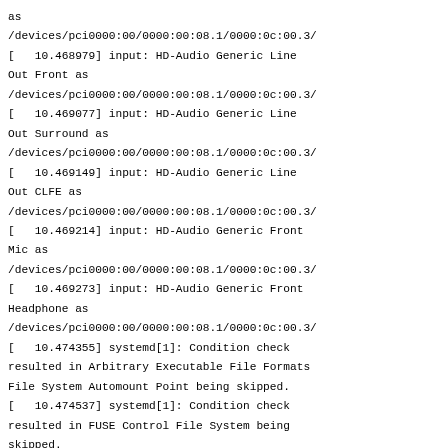as
/devices/pci0000:00/0000:00:08.1/0000:0c:00.3/
[   10.468979] input: HD-Audio Generic Line Out Front as
/devices/pci0000:00/0000:00:08.1/0000:0c:00.3/
[   10.469077] input: HD-Audio Generic Line Out Surround as
/devices/pci0000:00/0000:00:08.1/0000:0c:00.3/
[   10.469149] input: HD-Audio Generic Line Out CLFE as
/devices/pci0000:00/0000:00:08.1/0000:0c:00.3/
[   10.469214] input: HD-Audio Generic Front Mic as
/devices/pci0000:00/0000:00:08.1/0000:0c:00.3/
[   10.469273] input: HD-Audio Generic Front Headphone as
/devices/pci0000:00/0000:00:08.1/0000:0c:00.3/
[   10.474355] systemd[1]: Condition check resulted in Arbitrary Executable File Formats File System Automount Point being skipped.
[   10.474537] systemd[1]: Condition check resulted in FUSE Control File System being skipped.
[   10.474606] systemd[1]: Condition check resulted in Kernel Configuration File System being skipped.
[   10.474709] systemd[1]: Condition check resulted in Set Up Additional Binary Formats being skipped.
[   10.474752] systemd[1]: Condition check